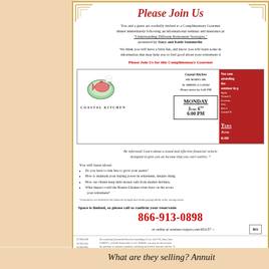Please Join Us
You and a guest are cordially invited to a Complimentary Gourmet dinner immediately following an informational seminar and insurance presentation, "Understanding Different Retirement Strategies," presented by Stacy and Keith Summerlin.
We think you will have a little fun, and know you will learn some meaningful information that may help you to feel good about your retirement decisions.
Please Join Us for this Complimentary Gourmet
[Figure (logo): Coastal Kitchen restaurant logo with cartoon fish/crab illustration]
Coastal Kitchen
182 Marina Dr.
St. Simons, GA 31522
Please arrive by 5:45 PM
Monday
June 6th
6:00 PM
Not coming... attending the seminar in person? Option: Virtual Seminar. In return for your time, you will receive $50 Gift Card to Coastal Kitchen.
Tuesday
June
6:00
Be informed! Learn about a tested and effective financial vehicle designed to give you an income that you can't outlive. *
You will learn about:
Do you have to risk less to grow your assets?
How to maintain your buying power in retirement, despite rising
How our clients keep their money safe from market declines.
What impact could the Russia-Ukraine crisis have on the economy and your retirement?
*Guarantees are backed by the financial strength and claims-paying ability of the issuing insurance company.
Space is limited, so please call to confirm your reservation
866-913-0898
RS
or online at seminar.rsvpyes.com/431137
By contacting Summerlin Benefits Consulting GA Lic #417176, Stacy Summerlin GA Lic #1889371, or Keith Summerlin GA Lic #626495, you may be offered information about the purchase of insurance products, including fixed index annuities and life. No securities will be sold at the event and there is no obligation to make a follow-up appointment.
R19021098 R19021003 R19022903
What are they selling?  Annuit
For me, the point is moot.  Our "cash" is tied up in IR